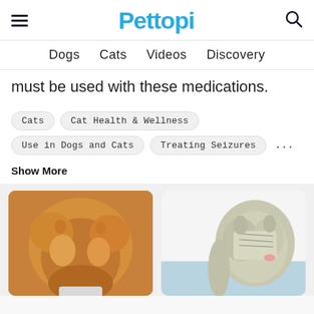Pettopi
Dogs  Cats  Videos  Discovery
must be used with these medications.
Cats
Cat Health & Wellness
Use in Dogs and Cats
Treating Seizures
...
Show More
[Figure (photo): Orange/ginger cat viewed from behind, leaning down over a white bowl, photographed indoors]
[Figure (photo): Tabby cat sitting, facing right with mouth open/tongue showing, on a light blue surface]